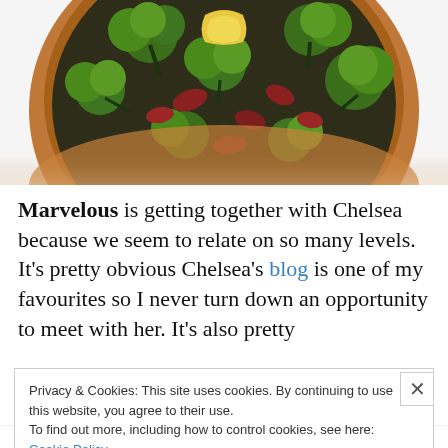[Figure (photo): A wooden bowl filled with broccoli, carrots, and other stir-fried vegetables, viewed from above on a white background.]
Marvelous is getting together with Chelsea because we seem to relate on so many levels. It’s pretty obvious Chelsea’s blog is one of my favourites so I never turn down an opportunity to meet with her. It’s also pretty
Privacy & Cookies: This site uses cookies. By continuing to use this website, you agree to their use.
To find out more, including how to control cookies, see here: Cookie Policy
Close and accept